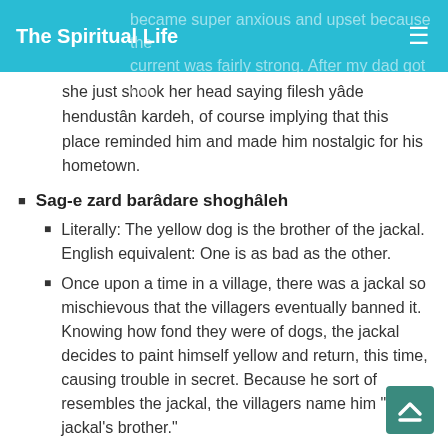The Spiritual Life
became super anxious and upset because the current was fairly strong. After my dad got out, she just shook her head saying filesh yâde hendustân kardeh, of course implying that this place reminded him and made him nostalgic for his hometown.
Sag-e zard barâdare shoghâleh
Literally: The yellow dog is the brother of the jackal.
English equivalent: One is as bad as the other.
Once upon a time in a village, there was a jackal so mischievous that the villagers eventually banned it. Knowing how fond they were of dogs, the jackal decides to paint himself yellow and return, this time, causing trouble in secret. Because he sort of resembles the jackal, the villagers name him "the jackal's brother."